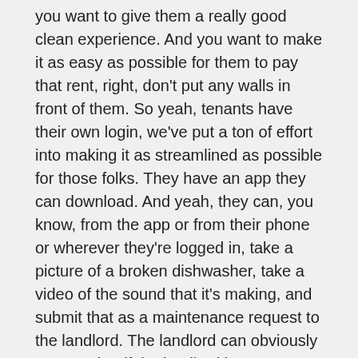you want to give them a really good clean experience. And you want to make it as easy as possible for them to pay that rent, right, don't put any walls in front of them. So yeah, tenants have their own login, we've put a ton of effort into making it as streamlined as possible for those folks. They have an app they can download. And yeah, they can, you know, from the app or from their phone or wherever they're logged in, take a picture of a broken dishwasher, take a video of the sound that it's making, and submit that as a maintenance request to the landlord. The landlord can obviously react to that if the landlord has maintenance personnel that work for them, property managers that work for them, they can add those people as sub users in an algo and either have those requests routed directly to them, or they can kind of